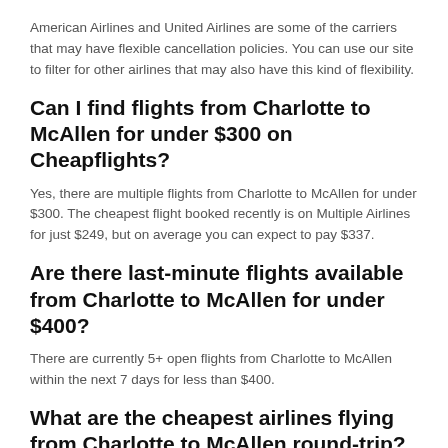American Airlines and United Airlines are some of the carriers that may have flexible cancellation policies. You can use our site to filter for other airlines that may also have this kind of flexibility.
Can I find flights from Charlotte to McAllen for under $300 on Cheapflights?
Yes, there are multiple flights from Charlotte to McAllen for under $300. The cheapest flight booked recently is on Multiple Airlines for just $249, but on average you can expect to pay $337.
Are there last-minute flights available from Charlotte to McAllen for under $400?
There are currently 5+ open flights from Charlotte to McAllen within the next 7 days for less than $400.
What are the cheapest airlines flying from Charlotte to McAllen round-trip?
Flying on American Airlines is currently your cheapest option to